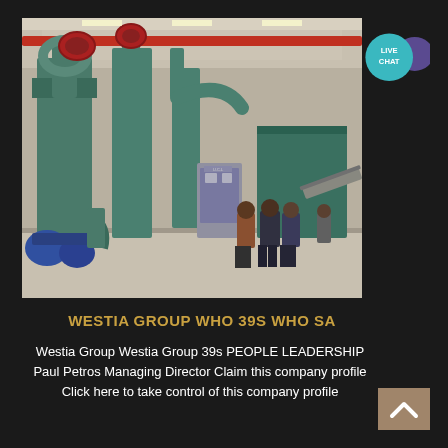[Figure (photo): Industrial factory interior with large green dust collection/filtration machines, pipes, and workers standing on the floor looking at equipment. Red crane visible at top. Bright fluorescent lighting from ceiling.]
[Figure (logo): Teal circular badge with 'LIVE CHAT' text in white, and a purple chat bubble icon to the right]
WESTIA GROUP WHO 39S WHO SA
Westia Group Westia Group 39s PEOPLE LEADERSHIP Paul Petros Managing Director Claim this company profile Click here to take control of this company profile
[Figure (other): Brownish/tan scroll-to-top button with upward arrow chevron]